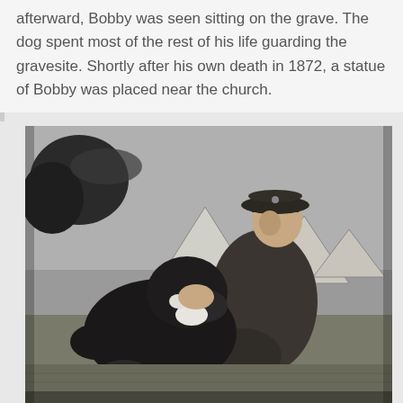afterward, Bobby was seen sitting on the grave. The dog spent most of the rest of his life guarding the gravesite. Shortly after his own death in 1872, a statue of Bobby was placed near the church.
[Figure (photo): Black and white historical photograph of a soldier in military uniform and cap kneeling down interacting with a large dark-colored dog. Military tents are visible in the background on a grassy field.]